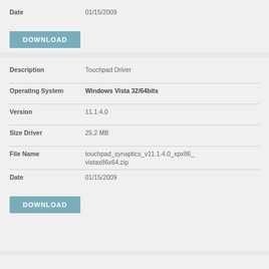| Field | Value |
| --- | --- |
| Date | 01/15/2009 |
DOWNLOAD
| Field | Value |
| --- | --- |
| Description | Touchpad Driver |
| Operating System | Windows Vista 32/64bits |
| Version | 11.1.4.0 |
| Size Driver | 25.2 MB |
| File Name | touchpad_synaptics_v11.1.4.0_xpx86_vistax86x64.zip |
| Date | 01/15/2009 |
DOWNLOAD